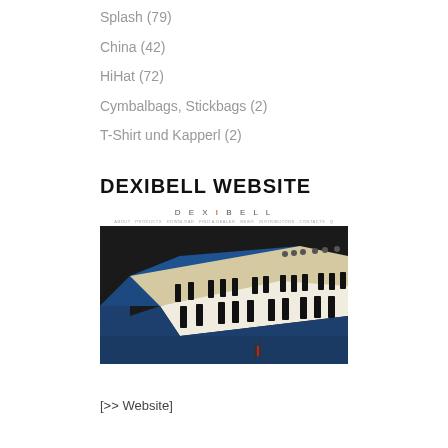Splash (79)
China (42)
HiHat (72)
Cymbalbags, Stickbags (2)
T-Shirt und Kapperl (2)
DEXIBELL WEBSITE
[Figure (screenshot): Screenshot of the Dexibell website showing the Dexibell logo at top, a navigation bar, and a large photo of a blue digital piano/keyboard instrument viewed from an angle highlighting the keys.]
[>> Website]